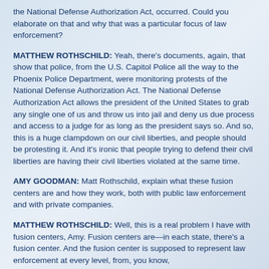the National Defense Authorization Act, occurred. Could you elaborate on that and why that was a particular focus of law enforcement?
MATTHEW ROTHSCHILD: Yeah, there's documents, again, that show that police, from the U.S. Capitol Police all the way to the Phoenix Police Department, were monitoring protests of the National Defense Authorization Act. The National Defense Authorization Act allows the president of the United States to grab any single one of us and throw us into jail and deny us due process and access to a judge for as long as the president says so. And so, this is a huge clampdown on our civil liberties, and people should be protesting it. And it's ironic that people trying to defend their civil liberties are having their civil liberties violated at the same time.
AMY GOODMAN: Matt Rothschild, explain what these fusion centers are and how they work, both with public law enforcement and with private companies.
MATTHEW ROTHSCHILD: Well, this is a real problem I have with fusion centers, Amy. Fusion centers are—in each state, there's a fusion center. And the fusion center is supposed to represent law enforcement at every level, from, you know,